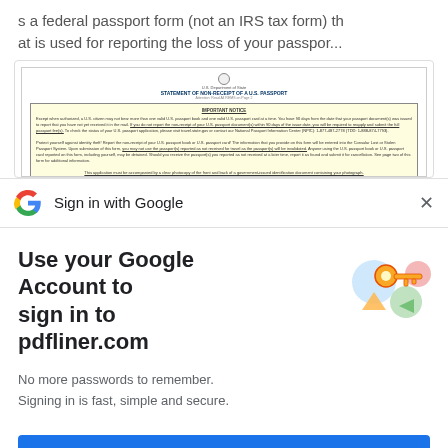s a federal passport form (not an IRS tax form) that is used for reporting the loss of your passpor...
[Figure (screenshot): Screenshot of a U.S. Department of State form titled 'Statement of Non-Receipt of a U.S. Passport' with an Important Notice section on a pale yellow background]
Sign in with Google
Use your Google Account to sign in to pdfliner.com
No more passwords to remember.
Signing in is fast, simple and secure.
[Figure (illustration): Google sign-in illustration with a golden key and colorful circular shapes]
Continue